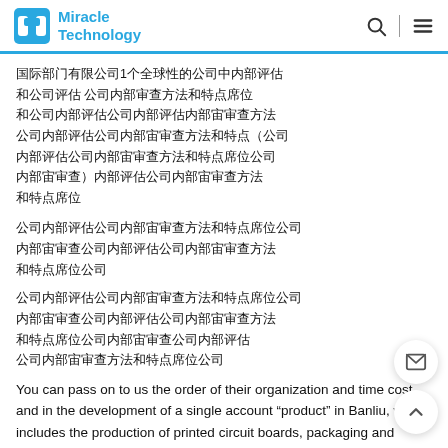Miracle Technology
Chinese text block 1 (with parentheses content)
Chinese text block 2
Chinese text block 3
You can pass on to us the order of their organization and time cost, and in the development of a single account "product" in Banliu, which includes the production of printed circuit boards, packaging and